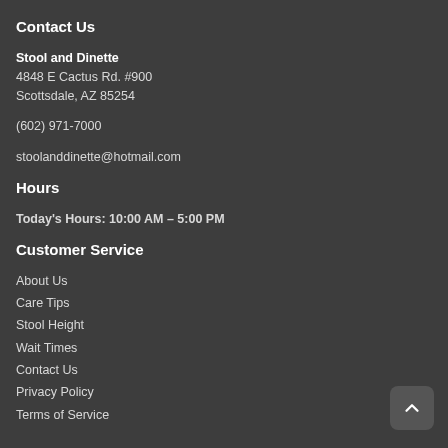Contact Us
Stool and Dinette
4848 E Cactus Rd. #900
Scottsdale, AZ 85254
(602) 971-7000
stoolanddinette@hotmail.com
Hours
Today's Hours: 10:00 AM - 5:00 PM
Customer Service
About Us
Care Tips
Stool Height
Wait Times
Contact Us
Privacy Policy
Terms of Service